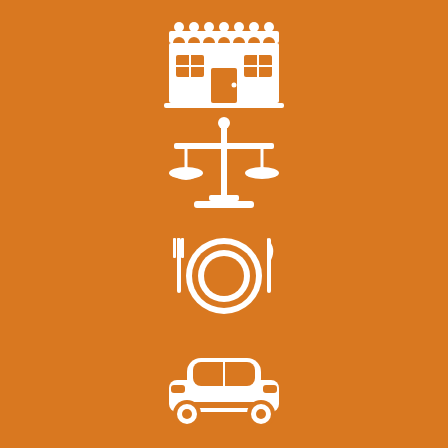[Figure (illustration): Four white icons on orange background arranged vertically: 1) A storefront/shop icon, 2) A scales of justice/legal icon, 3) A dining plate with fork and knife icon, 4) A car/automobile icon]